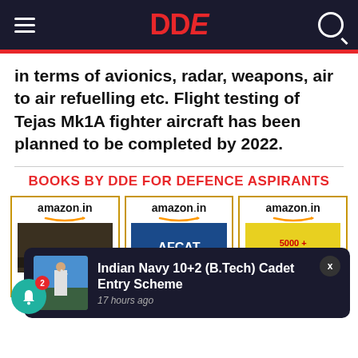DDE
in terms of avionics, radar, weapons, air to air refuelling etc. Flight testing of Tejas Mk1A fighter aircraft has been planned to be completed by 2022.
BOOKS BY DDE FOR DEFENCE ASPIRANTS
[Figure (screenshot): Three Amazon.in book listing cards for DDE defence books: CDS OTA, AFCAT: The..., 5000+ Most...]
[Figure (screenshot): Notification popup showing 'Indian Navy 10+2 (B.Tech) Cadet Entry Scheme - 17 hours ago' with a thumbnail image of a naval officer saluting]
[Figure (other): Green bell notification button with badge count 2]